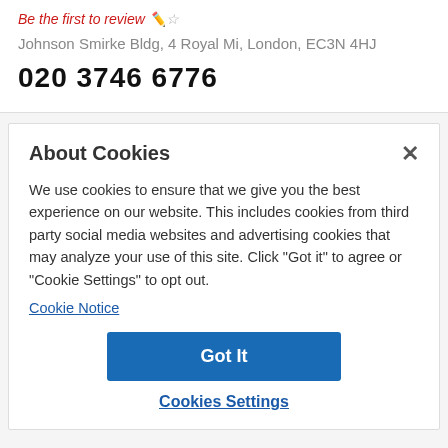Be the first to review ✏️☆
Johnson Smirke Bldg, 4 Royal Mi, London, EC3N 4HJ
020 3746 6776
About Cookies
We use cookies to ensure that we give you the best experience on our website. This includes cookies from third party social media websites and advertising cookies that may analyze your use of this site. Click "Got it" to agree or "Cookie Settings" to opt out.
Cookie Notice
Got It
Cookies Settings